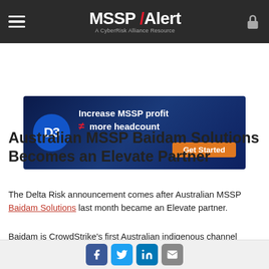MSSP Alert — A CyberRisk Alliance Resource
[Figure (infographic): D3 advertisement banner: Increase MSSP profit ≠ more headcount. Get Started button.]
Australian MSSP Baidam Solutions Becomes an Elevate Partner
The Delta Risk announcement comes after Australian MSSP Baidam Solutions last month became an Elevate partner.
Baidam is CrowdStrike's first Australian indigenous channel partner, the companies said. As an Elevate partner, Baidam delivers Falcon security capabilities to
Social sharing icons: Facebook, Twitter, LinkedIn, Email